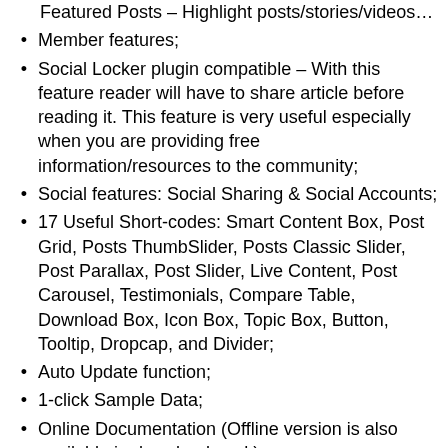Featured Posts – Highlight posts/stories/videos that is not only;
Member features;
Social Locker plugin compatible – With this feature reader will have to share article before reading it. This feature is very useful especially when you are providing free information/resources to the community;
Social features: Social Sharing & Social Accounts;
17 Useful Short-codes: Smart Content Box, Post Grid, Posts ThumbSlider, Posts Classic Slider, Post Parallax, Post Slider, Live Content, Post Carousel, Testimonials, Compare Table, Download Box, Icon Box, Topic Box, Button, Tooltip, Dropcap, and Divider;
Auto Update function;
1-click Sample Data;
Online Documentation (Offline version is also available in download pack).
Download:  https://drive.google.com/file/d/1pyQJq6CGRkwJfYBUI